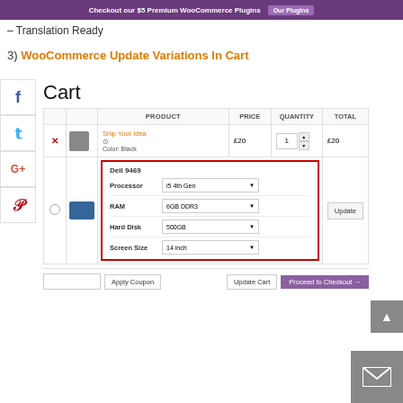Checkout our $5 Premium WooCommerce Plugins  Our Plugins
– Translation Ready
3) WooCommerce Update Variations In Cart
[Figure (screenshot): WooCommerce cart page screenshot showing Cart heading, a table with columns PRODUCT, PRICE, QUANTITY, TOTAL. Row 1: Ship Your Idea product (t-shirt icon), £20, quantity 1, £20, Color: Black. Row 2: Dell 9469 laptop with a red-bordered variations panel showing dropdowns for Processor (i5 4th Gen), RAM (6GB DDR3), Hard Disk (500GB), Screen Size (14 inch), and an Update button. Bottom row has Apply Coupon input, Update Cart button, and Proceed to Checkout button.]